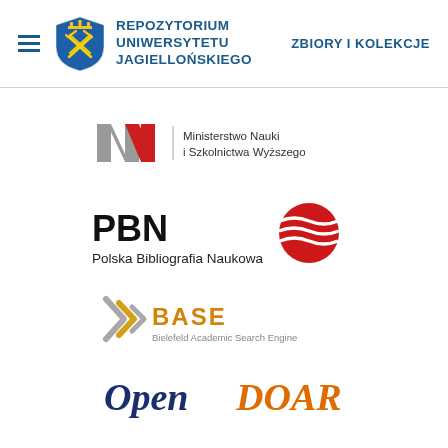REPOZYTORIUM UNIWERSYTETU JAGIELLOŃSKIEGO | ZBIORY I KOLEKCJE
[Figure (logo): Ministerstwo Nauki i Szkolnictwa Wyższego logo with stylized N shape in grey and red]
[Figure (logo): PBN Polska Bibliografia Naukowa logo with red globe/swoosh symbol]
[Figure (logo): BASE Bielefeld Academic Search Engine logo with chevron arrows in gold/grey]
[Figure (logo): OpenDOAR logo in dark blue and orange text]